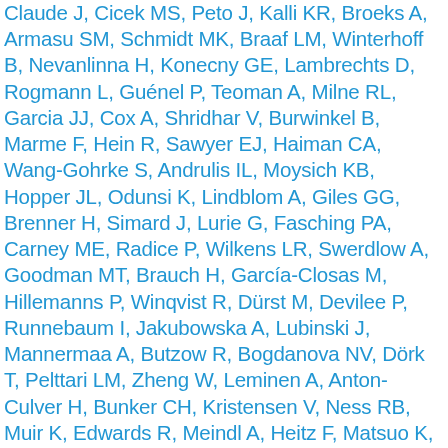Claude J, Cicek MS, Peto J, Kalli KR, Broeks A, Armasu SM, Schmidt MK, Braaf LM, Winterhoff B, Nevanlinna H, Konecny GE, Lambrechts D, Rogmann L, Guénel P, Teoman A, Milne RL, Garcia JJ, Cox A, Shridhar V, Burwinkel B, Marme F, Hein R, Sawyer EJ, Haiman CA, Wang-Gohrke S, Andrulis IL, Moysich KB, Hopper JL, Odunsi K, Lindblom A, Giles GG, Brenner H, Simard J, Lurie G, Fasching PA, Carney ME, Radice P, Wilkens LR, Swerdlow A, Goodman MT, Brauch H, García-Closas M, Hillemanns P, Winqvist R, Dürst M, Devilee P, Runnebaum I, Jakubowska A, Lubinski J, Mannermaa A, Butzow R, Bogdanova NV, Dörk T, Pelttari LM, Zheng W, Leminen A, Anton-Culver H, Bunker CH, Kristensen V, Ness RB, Muir K, Edwards R, Meindl A, Heitz F, Matsuo K, du Bois A, Wu AH, Harter P, Teo SH, Schwaab I, Shu XO, Blot W, Hosono S, Kang D, Nakanishi T, Hartman M, Yatabe Y, Hamann U, Karlan BY, Sangrajrang S, Kjaer SK, Gaborieau V, Jensen A, Eccles D, Høgdall E, Shen CY, Brown J, Woo YL, Shah M, Azmi MA, Luben R, Omar SZ, Czene K, Vierkant RA, Nordestgaard BG, Flyger H, Vachon C, Olson JE, Wang